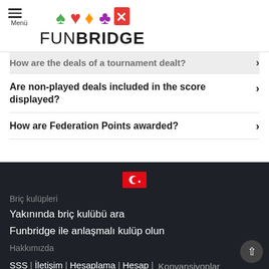Menü | FUNBRIDGE
How are the deals of a tournament dealt?
Are non-played deals included in the score displayed?
How are Federation Points awarded?
[Figure (illustration): Turkish flag icon - red rectangle with white crescent moon symbol]
Briç kulüpleri
Yakınında briç kulübü ara
Funbridge ile anlaşmalı kulüp olun
Hakkımızda
SSS | İletişim | Hesaplama | Hesap | Konvansiyonlar